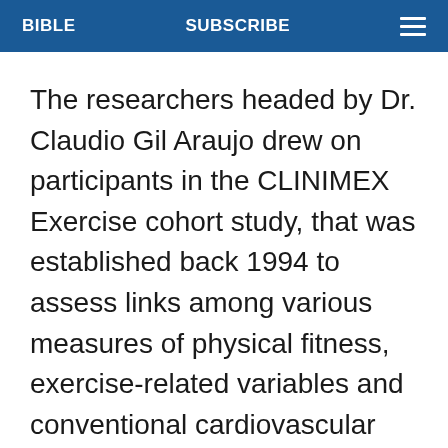BIBLE   SUBSCRIBE
The researchers headed by Dr. Claudio Gil Araujo drew on participants in the CLINIMEX Exercise cohort study, that was established back 1994 to assess links among various measures of physical fitness, exercise-related variables and conventional cardiovascular risk factors with ill-health and death.